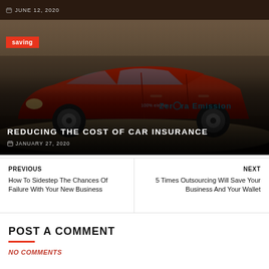JUNE 12, 2020
[Figure (photo): Red Nissan Leaf electric car with '100% electric Zero Emission' text on the door, shown in an indoor auto show setting. An orange 'saving' badge is overlaid on the top-left of the image. Text overlay at the bottom reads 'REDUCING THE COST OF CAR INSURANCE' and date 'JANUARY 27, 2020'.]
PREVIOUS
How To Sidestep The Chances Of Failure With Your New Business
NEXT
5 Times Outsourcing Will Save Your Business And Your Wallet
POST A COMMENT
NO COMMENTS